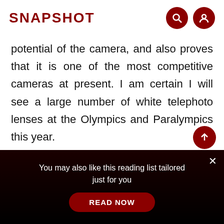SNAPSHOT
potential of the camera, and also proves that it is one of the most competitive cameras at present. I am certain I will see a large number of white telephoto lenses at the Olympics and Paralympics this year.
While this DSLR allows users to capture the world's top athletes as illustrated in the examples above, it is by no means a camera
You may also like this reading list tailored just for you
READ NOW